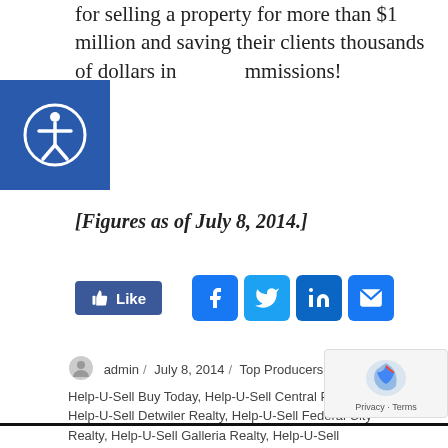for selling a property for more than $1 million and saving their clients thousands of dollars in commissions!
[Figures as of July 8, 2014.]
[Figure (other): Social share buttons: Like button, Facebook, Twitter, LinkedIn, Email icons]
admin / July 8, 2014 / Top Producers / Help-U-Sell, Help-U-Sell Buy Today, Help-U-Sell Central Properties, Help-U-Sell Detwiler Realty, Help-U-Sell Federal City Realty, Help-U-Sell Galleria Realty, Help-U-Sell Greensboro, Help-U-Sell Heritage Real Estate, Help-U-Sell Select Real Estate, Help-U-Sell Triad Realty
[Figure (logo): reCAPTCHA badge with Privacy and Terms links]